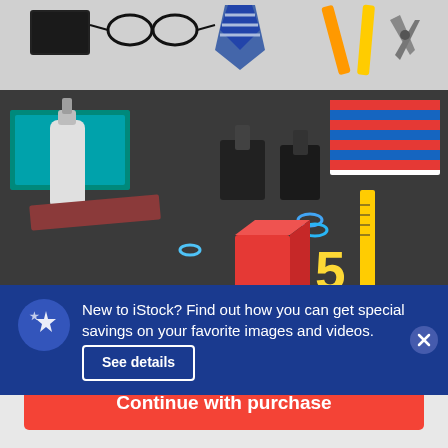[Figure (photo): Top strip image showing office accessories: wallet, glasses, striped tie, tools including pliers and yellow pencil/ruler on white background]
[Figure (photo): Main photo showing school/office supplies on dark background including hand sanitizer, green folder, black binder clips, red cube, yellow number 5, paper clips, and ruler. Shows '+21399' count overlay.]
+21399
New to iStock? Find out how you can get special savings on your favorite images and videos. See details
$12 | 1 credit
Continue with purchase